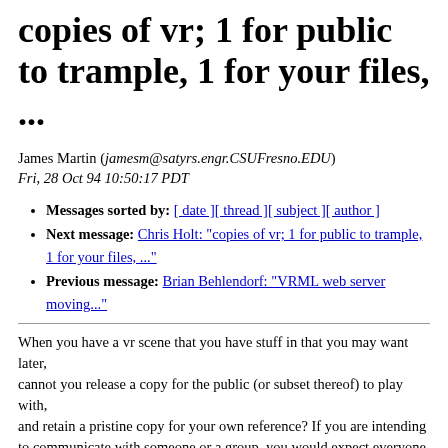copies of vr; 1 for public to trample, 1 for your files, ...
James Martin (jamesm@satyrs.engr.CSUFresno.EDU)
Fri, 28 Oct 94 10:50:17 PDT
Messages sorted by: [ date ][ thread ][ subject ][ author ]
Next message: Chris Holt: "copies of vr; 1 for public to trample, 1 for your files, ..."
Previous message: Brian Behlendorf: "VRML web server moving..."
When you have a vr scene that you have stuff in that you may want later,
cannot you release a copy for the public (or subset thereof) to play with,
and retain a pristine copy for your own reference? If you are intending
to communicate with someone or a group, you would expect everyone to be
continually messing up your pretty arrangement (moving the chairs, scaring